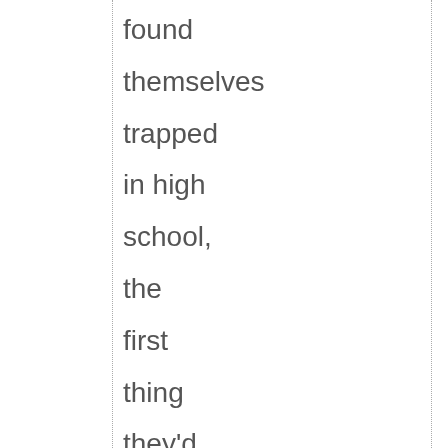found themselves trapped in high school, the first thing they'd do is form a union and renegotiate all the rules with the administration."